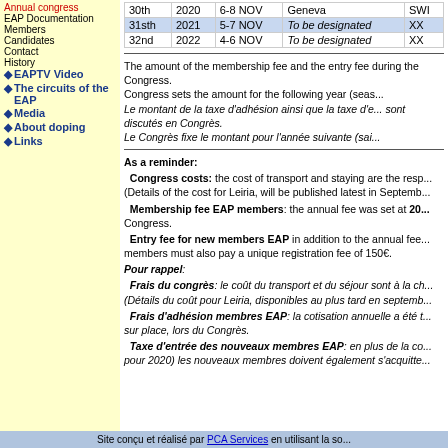|  | Year | Dates | City | Country |
| --- | --- | --- | --- | --- |
| 30th | 2020 | 6-8 NOV | Geneva | SWI |
| 31sth | 2021 | 5-7 NOV | To be designated | XX |
| 32nd | 2022 | 4-6 NOV | To be designated | XX |
The amount of the membership fee and the entry fee during the Congress.
Congress sets the amount for the following year (seas...
Le montant de la taxe d'adhésion ainsi que la taxe d'e... sont discutés en Congrès.
Le Congrès fixe le montant pour l'année suivante (sai...
As a reminder:
Congress costs: the cost of transport and staying are the resp... (Details of the cost for Leiria, will be published latest in Septemb...
Membership fee EAP members: the annual fee was set at 20... Congress.
Entry fee for new members EAP in addition to the annual fee... members must also pay a unique registration fee of 150€.
Pour rappel:
Frais du congrès: le coût du transport et du séjour sont à la ch... (Détails du coût pour Leiria, disponibles au plus tard en septemb...
Frais d'adhésion membres EAP: la cotisation annuelle a été t... sur place, lors du Congrès.
Taxe d'entrée des nouveaux membres EAP: en plus de la co... pour 2020) les nouveaux membres doivent également s'acquitte...
Site conçu et réalisé par PCA Services en utilisant la so...